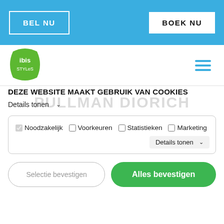BEL NU   BOEK NU
[Figure (logo): ibis Styles green logo]
DEZE WEBSITE MAAKT GEBRUIK VAN COOKIES
Details tonen
Noodzakelijk  Voorkeuren  Statistieken  Marketing  Details tonen
Selectie bevestigen   Alles bevestigen